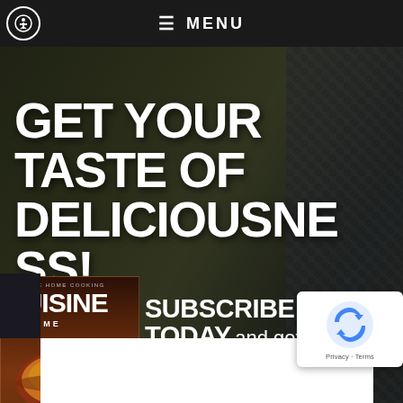☰ MENU
GET YOUR TASTE OF DELICIOUSNESS!
[Figure (illustration): Magazine cover for Cuisine at Home showing a bowl of food with green garnish, subtitle 'Falling for Comfort']
SUBSCRIBE TODAY and get 4 FREE digital
[Figure (screenshot): reCAPTCHA widget with Google logo, Privacy and Terms links]